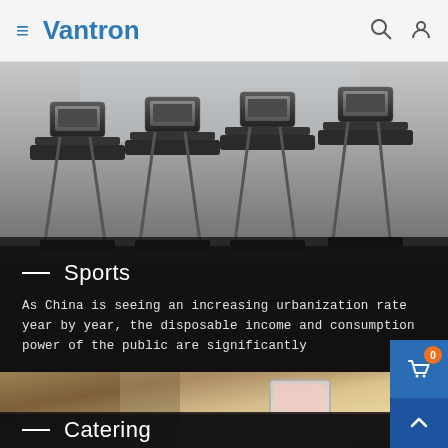Vantron — navigation bar with hamburger menu, logo, search and user icons
[Figure (photo): Row of treadmills/elliptical machines in a gym, viewed from the side, metallic and dark colored equipment lined up]
Sports
As China is seeing an increasing urbanization rate year by year, the disposable income and consumption power of the public are significantly
[Figure (photo): Person using a tablet/POS device in a retail or catering environment, wearing striped shirt, carrying a shopping bag]
Catering